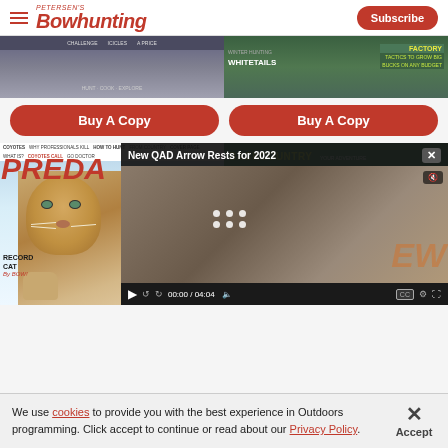Petersen's Bowhunting — Subscribe
[Figure (screenshot): Two magazine covers shown partially: left is a grey/blue hunting magazine, right shows Whitetails magazine with text 'TACTICS TO GROW BIG BUCKS ON ANY BUDGET']
Buy A Copy
Buy A Copy
[Figure (screenshot): Predator magazine cover featuring a mountain lion (cougar) with text 'RECORD CAT By BOW!' and BACKCOUNTRY magazine cover partially visible. Overlaid is a video player showing 'New QAD Arrow Rests for 2022' with controls showing 00:00 / 04:04]
We use cookies to provide you with the best experience in Outdoors programming. Click accept to continue or read about our Privacy Policy.